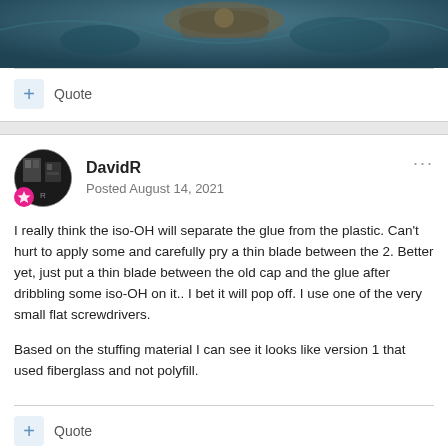[Figure (photo): Partial image of an object, appears to show a dark teal/blue textured surface with what looks like a metallic component, cropped at the top of the page.]
Quote
DavidR
Posted August 14, 2021
I really think the iso-OH will separate the glue from the plastic. Can't hurt to apply some and carefully pry a thin blade between the 2. Better yet, just put a thin blade between the old cap and the glue after dribbling some iso-OH on it.. I bet it will pop off. I use one of the very small flat screwdrivers.

Based on the stuffing material I can see it looks like version 1 that used fiberglass and not polyfill.
Quote